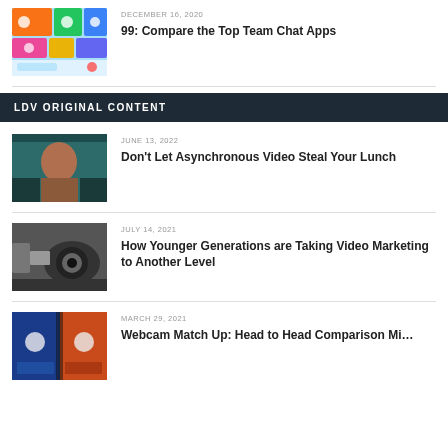[Figure (photo): Thumbnail image of team chat apps icons on a colorful background]
DECEMBER 16, 2020
99: Compare the Top Team Chat Apps
LDV ORIGINAL CONTENT
[Figure (photo): Thumbnail image of a woman sitting in a chair, looking at camera]
JUNE 13, 2022
Don't Let Asynchronous Video Steal Your Lunch
[Figure (photo): Thumbnail image of a professional camera lens]
JULY 14, 2021
How Younger Generations are Taking Video Marketing to Another Level
[Figure (photo): Thumbnail image of webcam comparison setup]
MARCH 29, 2021
Webcam Match Up: Head to Head Comparison Mi…